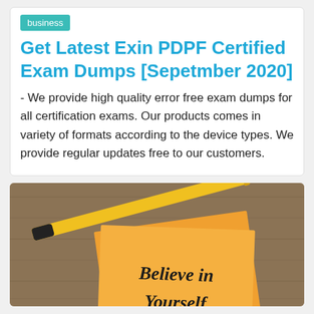business
Get Latest Exin PDPF Certified Exam Dumps [Sepetmber 2020]
- We provide high quality error free exam dumps for all certification exams. Our products comes in variety of formats according to the device types. We provide regular updates free to our customers.
[Figure (photo): Photo of sticky notes with text 'Believe in Yourself' and a yellow pen on a wooden surface]